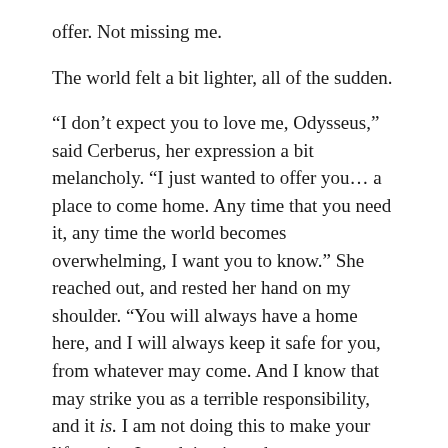offer. Not missing me.
The world felt a bit lighter, all of the sudden.
“I don’t expect you to love me, Odysseus,” said Cerberus, her expression a bit melancholy. “I just wanted to offer you… a place to come home. Any time that you need it, any time the world becomes overwhelming, I want you to know.” She reached out, and rested her hand on my shoulder. “You will always have a home here, and I will always keep it safe for you, from whatever may come. And I know that may strike you as a terrible responsibility, and it is. I am not doing this to make your life easier. I am doing it so that you stay alive, so that you never lack a thing to fight for.”
“A hero has two duties,” I said. “First, to save the